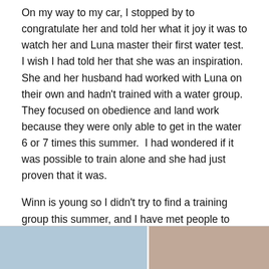On my way to my car, I stopped by to congratulate her and told her what it joy it was to watch her and Luna master their first water test.  I wish I had told her that she was an inspiration.  She and her husband had worked with Luna on their own and hadn't trained with a water group.  They focused on obedience and land work because they were only able to get in the water 6 or 7 times this summer.  I had wondered if it was possible to train alone and she had just proven that it was.
Winn is young so I didn't try to find a training group this summer, and I have met people to train with next year, but I tend to be a loner so until we join a group, we will keep doing our work together with the plan of entering the Water Dog test next year.
[Figure (photo): Partial view of two photos at the bottom of the page. Left photo shows water/ocean scene. Right photo shows a dog (possibly with a red collar or object) in water.]